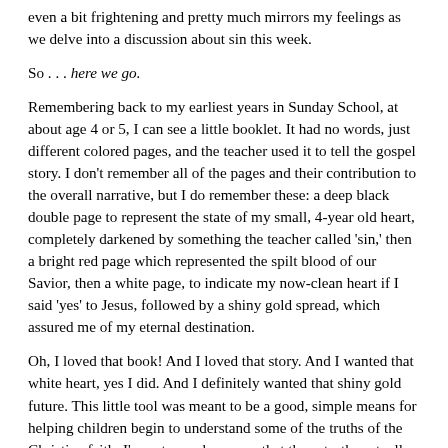even a bit frightening and pretty much mirrors my feelings as we delve into a discussion about sin this week.
So . . . here we go.
Remembering back to my earliest years in Sunday School, at about age 4 or 5, I can see a little booklet. It had no words, just different colored pages, and the teacher used it to tell the gospel story. I don't remember all of the pages and their contribution to the overall narrative, but I do remember these: a deep black double page to represent the state of my small, 4-year old heart, completely darkened by something the teacher called 'sin,' then a bright red page which represented the spilt blood of our Savior, then a white page, to indicate my now-clean heart if I said 'yes' to Jesus, followed by a shiny gold spread, which assured me of my eternal destination.
Oh, I loved that book! And I loved that story. And I wanted that white heart, yes I did. And I definitely wanted that shiny gold future. This little tool was meant to be a good, simple means for helping children begin to understand some of the truths of the Christian faith. I'm not sure, however, that those truths actually sank into my little heart as intended.
And here's why: